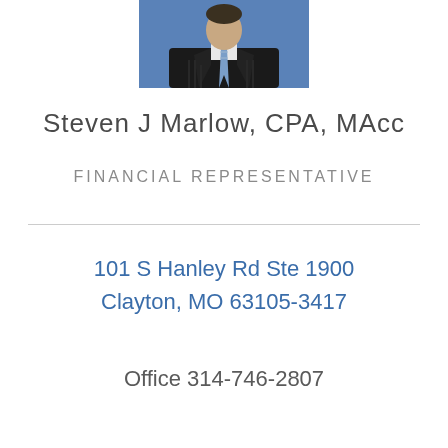[Figure (photo): Professional headshot of Steven J Marlow wearing a dark pinstripe suit and striped tie, photographed against a blue background]
Steven J Marlow, CPA, MAcc
FINANCIAL REPRESENTATIVE
101 S Hanley Rd Ste 1900
Clayton, MO 63105-3417
Office 314-746-2807